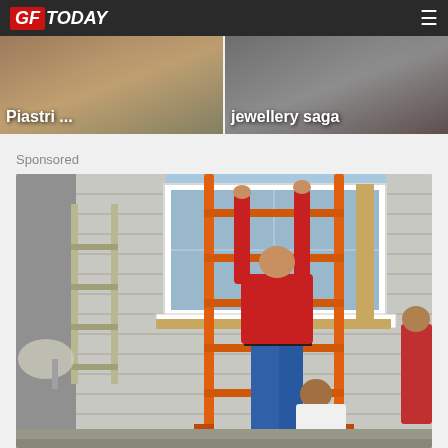GF Today
[Figure (photo): Two thumbnail images side by side: left shows 'Piastri ...' text overlay on a photo, right shows 'jewellery saga' text overlay on a photo]
Sponsored
[Figure (photo): Sponsored photo showing workers installing a window on a house exterior. A person in a red shirt is on an orange ladder reaching up to fit a white window frame, while another person assists from below. The house has white/gray siding.]